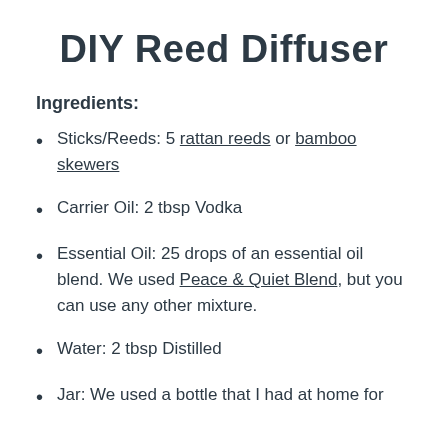DIY Reed Diffuser
Ingredients:
Sticks/Reeds: 5 rattan reeds or bamboo skewers
Carrier Oil: 2 tbsp Vodka
Essential Oil: 25 drops of an essential oil blend. We used Peace & Quiet Blend, but you can use any other mixture.
Water: 2 tbsp Distilled
Jar: We used a bottle that I had at home for